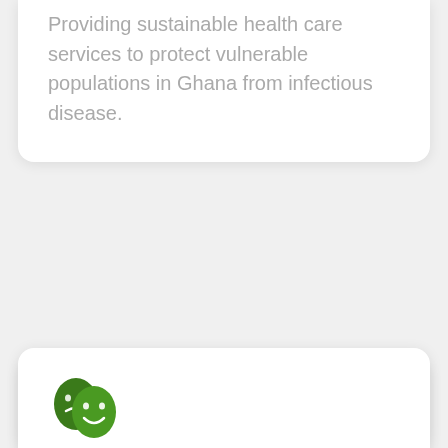Providing sustainable health care services to protect vulnerable populations in Ghana from infectious disease.
[Figure (illustration): Theater/drama masks icon in dark green, representing Culture & Heritage]
Culture & Heritage
Promoting and preserving the culture and natural heritage of the Asante Kingdom for development in tourism.